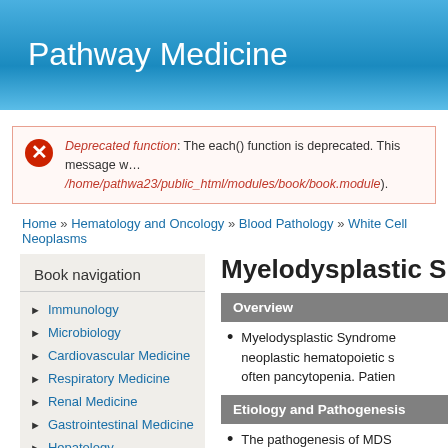Pathway Medicine
Deprecated function: The each() function is deprecated. This message will be suppressed on further calls in /home/pathwa23/public_html/modules/book/book.module).
Home » Hematology and Oncology » Blood Pathology » White Cell Neoplasms
Book navigation
Immunology
Microbiology
Cardiovascular Medicine
Respiratory Medicine
Renal Medicine
Gastrointestinal Medicine
Hepatology
Endocrinology
Myelodysplastic S
Overview
Myelodysplastic Syndrome (MDS) are a group of neoplastic hematopoietic stem cell disorders causing often pancytopenia. Patien
Etiology and Pathogenesis
The pathogenesis of MDS